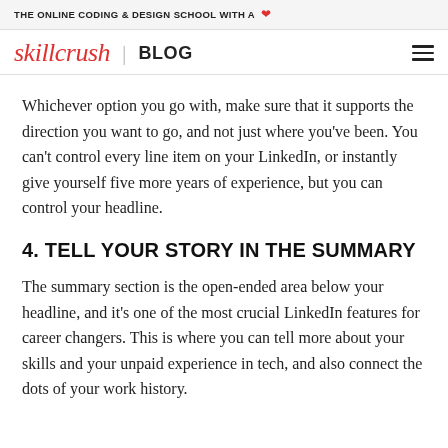THE ONLINE CODING & DESIGN SCHOOL WITH A ♥
skillcrush | BLOG
Whichever option you go with, make sure that it supports the direction you want to go, and not just where you've been. You can't control every line item on your LinkedIn, or instantly give yourself five more years of experience, but you can control your headline.
4. TELL YOUR STORY IN THE SUMMARY
The summary section is the open-ended area below your headline, and it's one of the most crucial LinkedIn features for career changers. This is where you can tell more about your skills and your unpaid experience in tech, and also connect the dots of your work history.